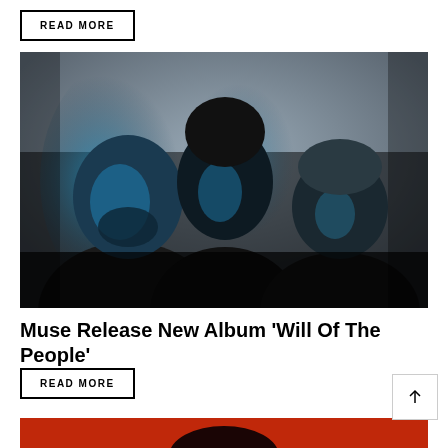READ MORE
[Figure (photo): Three members of the band Muse photographed in dramatic blue-tinted lighting against a grey background, facing the camera in a dark, moody style.]
Muse Release New Album ‘Will Of The People’
READ MORE
[Figure (photo): Bottom portion of another article image showing a red/orange background with the top of a person's head.]